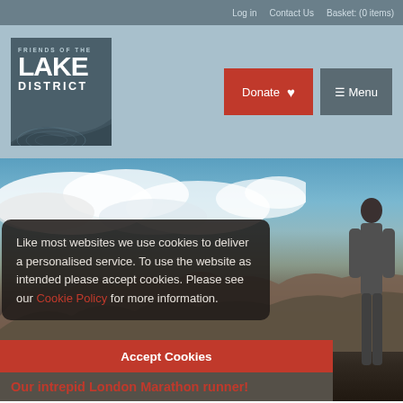Log in   Contact Us   Basket: (0 items)
[Figure (logo): Friends of the Lake District logo - dark teal square with white text and circular contour lines graphic]
Donate
☰ Menu
[Figure (photo): Landscape photo of Lake District hills/mountains under a partly cloudy blue sky, with a person standing on the right side]
Like most websites we use cookies to deliver a personalised service. To use the website as intended please accept cookies. Please see our Cookie Policy for more information.
Accept Cookies
Our intrepid London Marathon runner!